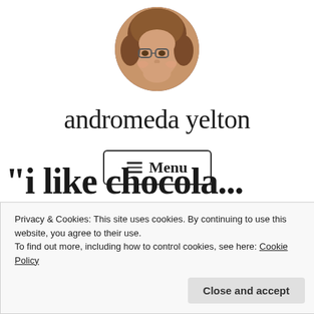[Figure (photo): Circular profile photo of a person with curly hair and glasses, smiling.]
andromeda yelton
≡ Menu
"i like chocola... (partial heading text, clipped at bottom)
Privacy & Cookies: This site uses cookies. By continuing to use this website, you agree to their use.
To find out more, including how to control cookies, see here: Cookie Policy
Close and accept